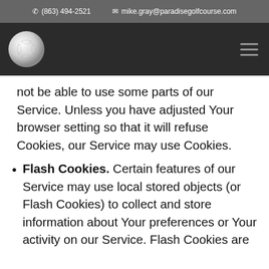(863) 494-2521   mike.gray@paradisegolfcourse.com
[Figure (logo): Golf ball logo on dark navigation bar with hamburger menu icon]
not be able to use some parts of our Service. Unless you have adjusted Your browser setting so that it will refuse Cookies, our Service may use Cookies.
Flash Cookies. Certain features of our Service may use local stored objects (or Flash Cookies) to collect and store information about Your preferences or Your activity on our Service. Flash Cookies are